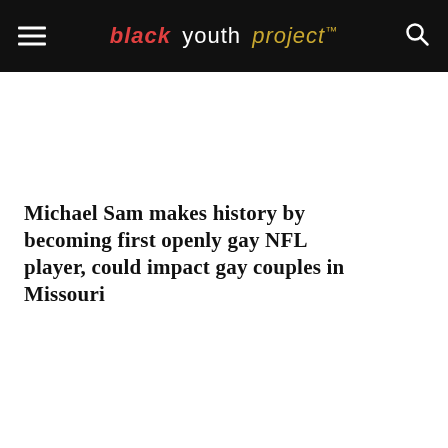black youth project™
Michael Sam makes history by becoming first openly gay NFL player, could impact gay couples in Missouri